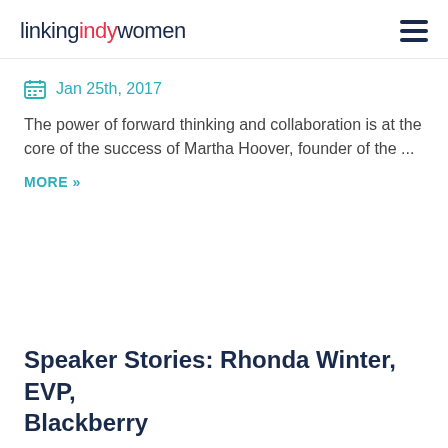linking indy women
Jan 25th, 2017
The power of forward thinking and collaboration is at the core of the success of Martha Hoover, founder of the ...
MORE »
Speaker Stories: Rhonda Winter, EVP, Blackberry